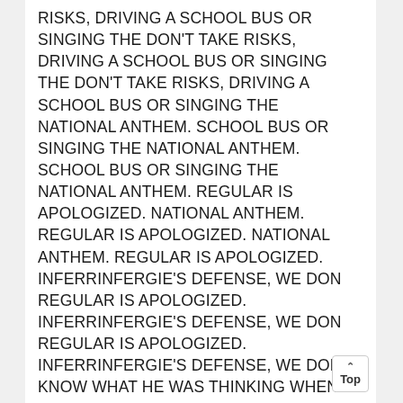RISKS, DRIVING A SCHOOL BUS OR SINGING THE DON'T TAKE RISKS, DRIVING A SCHOOL BUS OR SINGING THE DON'T TAKE RISKS, DRIVING A SCHOOL BUS OR SINGING THE NATIONAL ANTHEM. SCHOOL BUS OR SINGING THE NATIONAL ANTHEM. SCHOOL BUS OR SINGING THE NATIONAL ANTHEM. REGULAR IS APOLOGIZED. NATIONAL ANTHEM. REGULAR IS APOLOGIZED. NATIONAL ANTHEM. REGULAR IS APOLOGIZED. INFERRINFERGIE'S DEFENSE, WE DON REGULAR IS APOLOGIZED. INFERRINFERGIE'S DEFENSE, WE DON REGULAR IS APOLOGIZED. INFERRINFERGIE'S DEFENSE, WE DON KNOW WHAT HE WAS THINKING WHEN INFERRINFERGIE'S DEFENSE, WE DON KNOW WHAT HE WAS THINKING WHEN INFERRINFERGIE'S DEFENSE, WE DON KNOW WHAT HE WAS THINKING WHEN HE WROTE IT. KNOW WHAT HE WAS THINKING WHEN HE WROTE IT.
KNOW WHAT HE WAS THINKING WHEN HE WROTE IT. MAYBE HE WANTED IT TO BE SEXY. HE WROTE IT. MAYBE HE WANTED IT TO BE SEXY. HE WROTE IT. MAYBE HE WANTED IT TO BE SEXY.